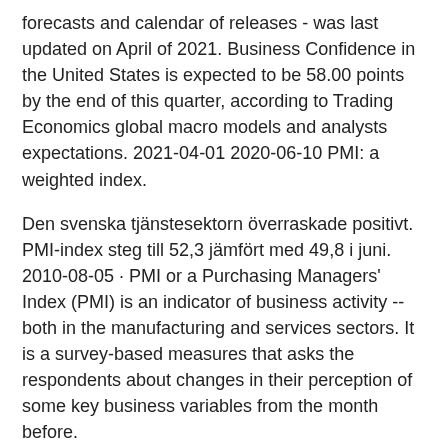forecasts and calendar of releases - was last updated on April of 2021. Business Confidence in the United States is expected to be 58.00 points by the end of this quarter, according to Trading Economics global macro models and analysts expectations. 2021-04-01 2020-06-10 PMI: a weighted index.
Den svenska tjänstesektorn överraskade positivt. PMI-index steg till 52,3 jämfört med 49,8 i juni. 2010-08-05 · PMI or a Purchasing Managers' Index (PMI) is an indicator of business activity -- both in the manufacturing and services sectors. It is a survey-based measures that asks the respondents about changes in their perception of some key business variables from the month before.
Starbreeze ab